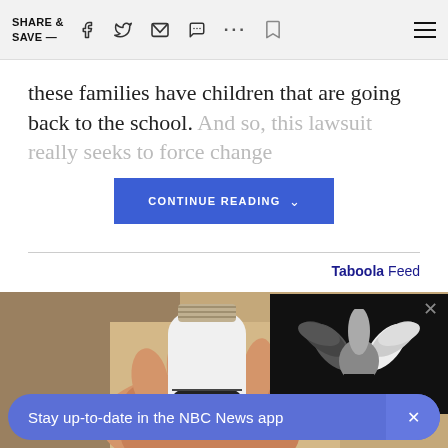SHARE & SAVE —  [social icons: Facebook, Twitter, Email, Chat, More, Bookmark, Menu]
these families have children that are going back to the school. And so, this lawsuit really seeks to force change
CONTINUE READING
Taboola Feed
[Figure (photo): A hand holding a white light bulb security camera with a screw mount base, in front of a cardboard box background]
[Figure (logo): NBC peacock logo on black background with X close button]
Stay up-to-date in the NBC News app